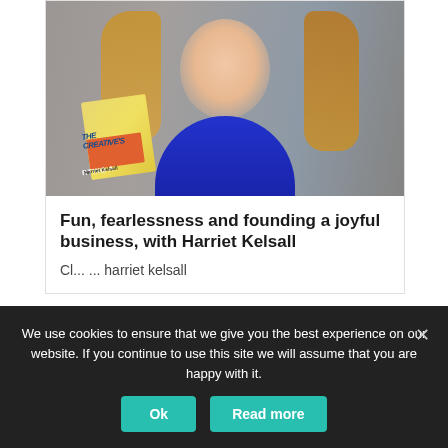[Figure (photo): Woman in blue dress holding a book titled 'The Creative's Guide to Starting A...' by Harriet Kelsall, standing in what appears to be a bookshop]
Fun, fearlessness and founding a joyful business, with Harriet Kelsall
We use cookies to ensure that we give you the best experience on our website. If you continue to use this site we will assume that you are happy with it.
Ok
Read more